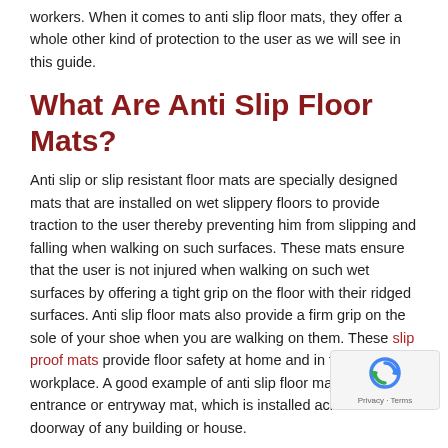workers. When it comes to anti slip floor mats, they offer a whole other kind of protection to the user as we will see in this guide.
What Are Anti Slip Floor Mats?
Anti slip or slip resistant floor mats are specially designed mats that are installed on wet slippery floors to provide traction to the user thereby preventing him from slipping and falling when walking on such surfaces. These mats ensure that the user is not injured when walking on such wet surfaces by offering a tight grip on the floor with their ridged surfaces. Anti slip floor mats also provide a firm grip on the sole of your shoe when you are walking on them. These slip proof mats provide floor safety at home and in the workplace. A good example of anti slip floor mats is the entrance or entryway mat, which is installed across the main doorway of any building or house.
Where To Install Anti Slip Floor